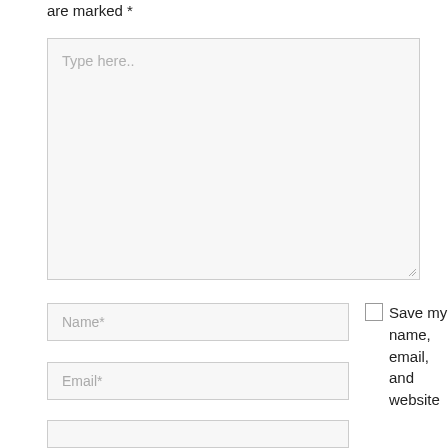are marked *
[Figure (screenshot): A large text area input field with placeholder text 'Type here..' and a resize handle at the bottom right corner. Background is light gray.]
[Figure (screenshot): A text input field with placeholder text 'Name*'. Background is light gray.]
[Figure (screenshot): A text input field with placeholder text 'Email*'. Background is light gray.]
[Figure (screenshot): A partially visible text input field for website. Background is light gray.]
Save my name, email, and website